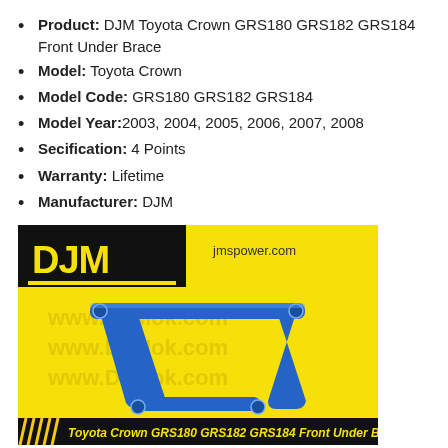Product: DJM Toyota Crown GRS180 GRS182 GRS184 Front Under Brace
Model: Toyota Crown
Model Code: GRS180 GRS182 GRS184
Model Year: 2003, 2004, 2005, 2006, 2007, 2008
Secification: 4 Points
Warranty: Lifetime
Manufacturer: DJM
[Figure (photo): DJM Toyota Crown GRS180 GRS182 GRS184 Front Under Brace product photo on yellow background with DJM logo and jmspower.com watermark. Bottom banner reads: Toyota Crown GRS180 GRS182 GRS184 Front Under Brace]
DJM Toyota Crown GRS180 GRS182 GRS184 Front Under Brace